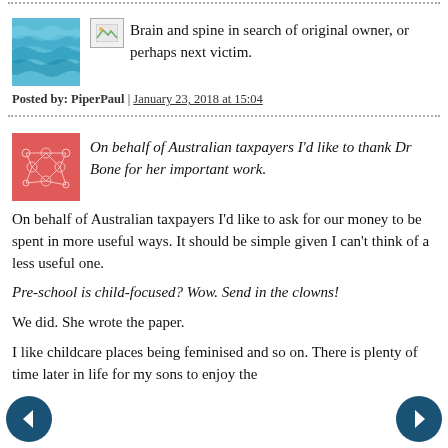Brain and spine in search of original owner, or perhaps next victim.
Posted by: PiperPaul | January 23, 2018 at 15:04
On behalf of Australian taxpayers I'd like to thank Dr Bone for her important work.
On behalf of Australian taxpayers I'd like to ask for our money to be spent in more useful ways. It should be simple given I can't think of a less useful one.
Pre-school is child-focused? Wow. Send in the clowns!
We did. She wrote the paper.
I like childcare places being feminised and so on. There is plenty of time later in life for my sons to enjoy the